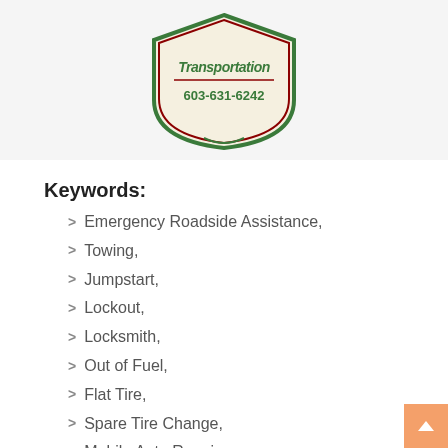[Figure (logo): Shield-shaped logo for a transportation company showing the text 'Transportation' and phone number 603-631-6242 in green and dark red colors on a cream background with green and red border]
Keywords:
Emergency Roadside Assistance,
Towing,
Jumpstart,
Lockout,
Locksmith,
Out of Fuel,
Flat Tire,
Spare Tire Change,
Mobile Auto Repair,
Priority Transportation and Emergency Roadside Assistance